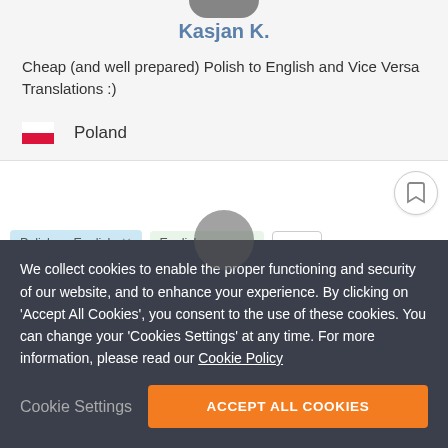Kasjan K.
Cheap (and well prepared) Polish to English and Vice Versa Translations :)
Poland
[Figure (screenshot): Cookie consent overlay with text about cookie policy and two buttons: Cookie Settings and Accept All Cookies]
We collect cookies to enable the proper functioning and security of our website, and to enhance your experience. By clicking on 'Accept All Cookies', you consent to the use of these cookies. You can change your 'Cookies Settings' at any time. For more information, please read our Cookie Policy
Cookie Settings
ACCEPT ALL COOKIES